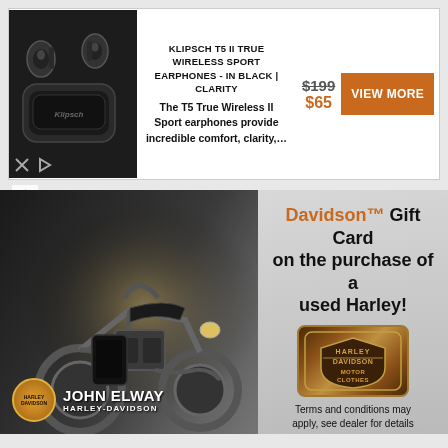[Figure (screenshot): Top banner ad: Klipsch T5 II True Wireless Sport Earphones in black with product image, description, crossed-out price $199 and sale price $65, and an orange VIEW MORE button]
KLIPSCH T5 II TRUE WIRELESS SPORT EARPHONES - IN BLACK | CLARITY
The T5 True Wireless II Sport earphones provide incredible comfort, clarity,…
$199 $65
[Figure (screenshot): Harley-Davidson dealership ad: John Elway Harley-Davidson. Text: Davidson™ Gift Card on the purchase of a used Harley! Terms and conditions may apply, see dealer for details. Motorcycle photo on left, Harley-Davidson logo badge in center-right.]